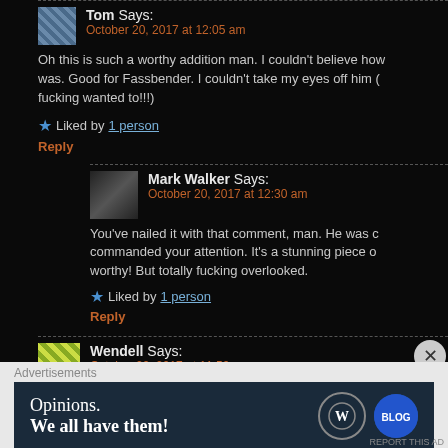Tom Says: October 20, 2017 at 12:05 am
Oh this is such a worthy addition man. I couldn't believe how good he was. Good for Fassbender. I couldn't take my eyes off him (even if I fucking wanted to!!!)
Liked by 1 person
Reply
Mark Walker Says: October 20, 2017 at 12:30 am
You've nailed it with that comment, man. He was commanding your attention. It's a stunning piece of work. Oscar worthy! But totally fucking overlooked.
Liked by 1 person
Reply
Wendell Says: October 22, 2017 at 11:50 pm
Advertisements
[Figure (infographic): WordPress advertisement banner: 'Opinions. We all have them!' with WordPress and Blog logos]